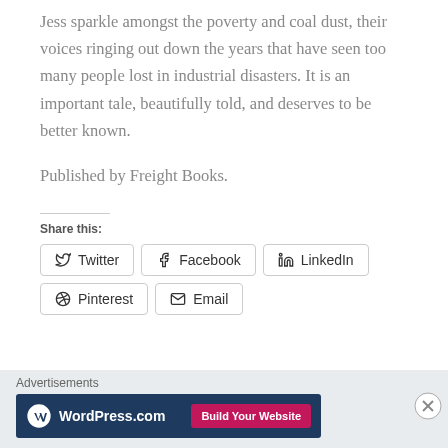Jess sparkle amongst the poverty and coal dust, their voices ringing out down the years that have seen too many people lost in industrial disasters. It is an important tale, beautifully told, and deserves to be better known.
Published by Freight Books.
Share this:
Twitter  Facebook  LinkedIn  Pinterest  Email
Advertisements
[Figure (screenshot): WordPress.com advertisement banner with dark blue background, WordPress logo, and pink 'Build Your Website' button]